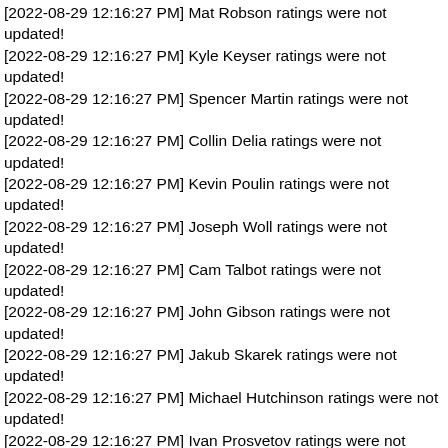[2022-08-29 12:16:27 PM] Mat Robson ratings were not updated!
[2022-08-29 12:16:27 PM] Kyle Keyser ratings were not updated!
[2022-08-29 12:16:27 PM] Spencer Martin ratings were not updated!
[2022-08-29 12:16:27 PM] Collin Delia ratings were not updated!
[2022-08-29 12:16:27 PM] Kevin Poulin ratings were not updated!
[2022-08-29 12:16:27 PM] Joseph Woll ratings were not updated!
[2022-08-29 12:16:27 PM] Cam Talbot ratings were not updated!
[2022-08-29 12:16:27 PM] John Gibson ratings were not updated!
[2022-08-29 12:16:27 PM] Jakub Skarek ratings were not updated!
[2022-08-29 12:16:27 PM] Michael Hutchinson ratings were not updated!
[2022-08-29 12:16:27 PM] Ivan Prosvetov ratings were not updated!
[2022-08-29 12:16:27 PM] Andrew Hammond ratings were not updated!
[2022-08-29 12:16:27 PM] Antti Raanta ratings were not updated!
[2022-08-29 12:16:27 PM] Ilya Sorokin ratings were not updated!
[2022-08-29 12:16:27 PM] Zane McIntyre ratings were not updated!
[2022-08-29 12:16:27 PM] Tristan Jarry ratings were not updated!
[2022-08-29 12:16:27 PM] Elvis Merzlikins ratings were not updated!
[2022-08-29 12:16:27 PM] Zachary Fucale ratings were not updated!
[2022-08-29 12:16:27 PM] Eric Comrie ratings were not updated!
[2022-08-29 12:16:27 PM] Juuse Saros ratings were not updated!
[2022-08-29 12:16:27 PM] Cayden Primeau ratings were not updated!
[2022-08-29 12:16:27 PM] Garret Sparks ratings were not updated!
[2022-08-29 12:16:27 PM] Linus Ullmark ratings were not updated!
[2022-08-29 12:16:27 PM] Joonas Korpisalo ratings were not updated!
[2022-08-29 12:16:27 PM] Andrew Shortridge ratings were not